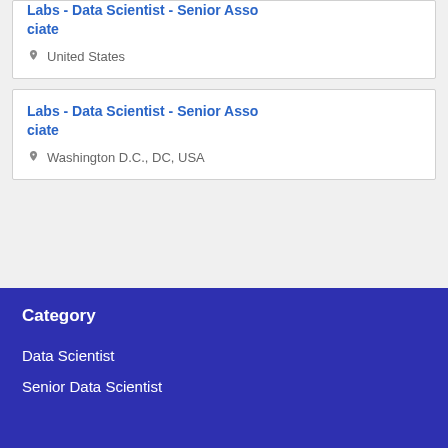Labs - Data Scientist - Senior Associate
United States
Labs - Data Scientist - Senior Associate
Washington D.C., DC, USA
Category
Data Scientist
Senior Data Scientist